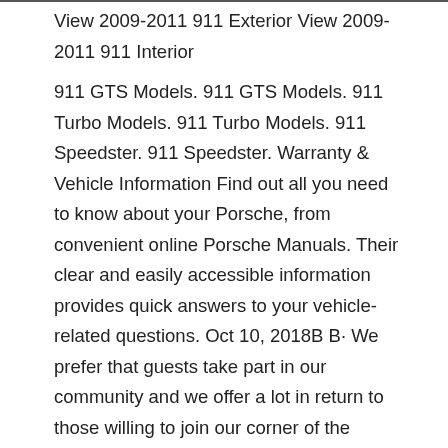View 2009-2011 911 Exterior View 2009-2011 911 Interior
911 GTS Models. 911 GTS Models. 911 Turbo Models. 911 Turbo Models. 911 Speedster. 911 Speedster. Warranty & Vehicle Information Find out all you need to know about your Porsche, from convenient online Porsche Manuals. Their clear and easily accessible information provides quick answers to your vehicle-related questions. Oct 10, 2018B B· We prefer that guests take part in our community and we offer a lot in return to those willing to join our corner of the Porsche world. This site is 99 percent member supported (less than 1 percent comes from advertising) - so please consider an annual donation to keep this site running.
New Listing 1965 PORSCHE 911 OWNERS MANUAL DRIVERS MANUAL +CASE) 1st EDTION I/65 LOWRD $2199. $1,800.01. Top Rated Plus. Was: Previous Price